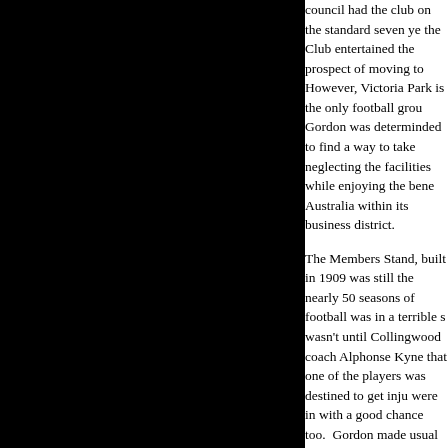council had the club on the standard seven years the Club entertained the prospect of moving to However, Victoria Park is the only football grou Gordon was determinded to find a way to take neglecting the facilities while enjoying the bene Australia within its business district.
The Members Stand, built in 1909 was still the nearly 50 seasons of football was in a terrible s wasn't until Collingwood coach Alphonse Kyne that one of the players was destined to get inju were in with a good chance too. Gordon made usual cold and disinterested response from tow the lack of council interest in what was legal te term benfactor John Wren. Suffice to say that Carlyon's and McHale's return to Victoria Park Clerk, the engineer, the curator and the Mayor next two days and nights.
Gordon approached the council in 1954 with a the upgrading of facilities at the ground. The c rapid expansion was required. The Club neede need to constantly call on the council that woul Collingwood Social Club in 1942 upon acquirin surge of support but the old Members Stand w no were to work. The Collingwood City Counci years lease for council properties. Gordon kne was in relation to council lands. So he bought and sixpence and studied it thoroughly. In the Clause 237 allowed a council to grant a 'major